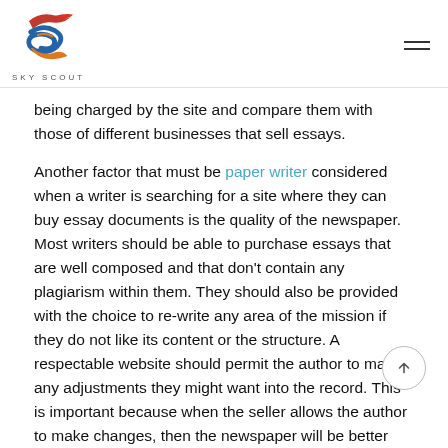[Figure (logo): Sky Scout logo — stylized S with bird/wave motif in red, orange, blue colors, with text SKY SCOUT below]
being charged by the site and compare them with those of different businesses that sell essays.
Another factor that must be paper writer considered when a writer is searching for a site where they can buy essay documents is the quality of the newspaper. Most writers should be able to purchase essays that are well composed and that don't contain any plagiarism within them. They should also be provided with the choice to re-write any area of the mission if they do not like its content or the structure. A respectable website should permit the author to make any adjustments they might want into the record. This is important because when the seller allows the author to make changes, then the newspaper will be better tailored towards the needs